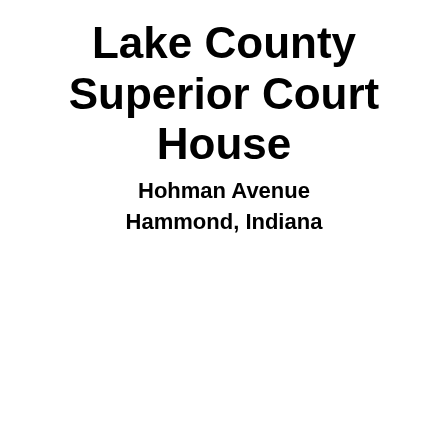Lake County Superior Court House
Hohman Avenue
Hammond, Indiana